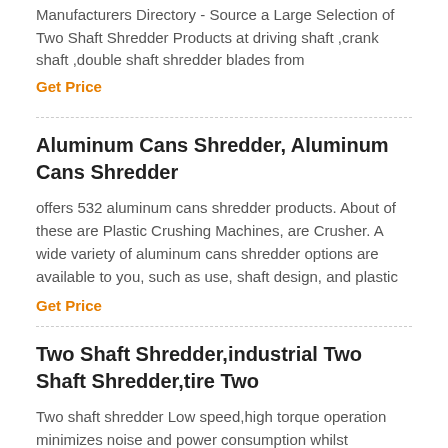Manufacturers Directory - Source a Large Selection of Two Shaft Shredder Products at driving shaft ,crank shaft ,double shaft shredder blades from
Get Price
Aluminum Cans Shredder, Aluminum Cans Shredder
offers 532 aluminum cans shredder products. About of these are Plastic Crushing Machines, are Crusher. A wide variety of aluminum cans shredder options are available to you, such as use, shaft design, and plastic
Get Price
Two Shaft Shredder,industrial Two Shaft Shredder,tire Two
Two shaft shredder Low speed,high torque operation minimizes noise and power consumption whilst achieving high throughput rates.These scrap metal two shaft